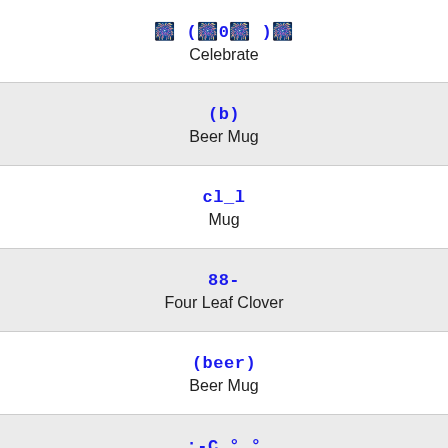🎉 (🎉0🎉)🎉
Celebrate
(b)
Beer Mug
cl_l
Mug
88-
Four Leaf Clover
(beer)
Beer Mug
:-C.°.°
Vomiting